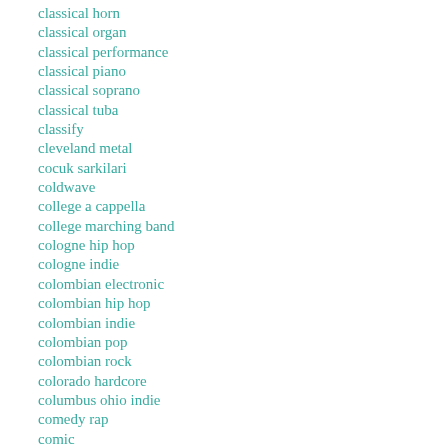classical horn
classical organ
classical performance
classical piano
classical soprano
classical tuba
classify
cleveland metal
cocuk sarkilari
coldwave
college a cappella
college marching band
cologne hip hop
cologne indie
colombian electronic
colombian hip hop
colombian indie
colombian pop
colombian rock
colorado hardcore
columbus ohio indie
comedy rap
comic
comic metal
complextro